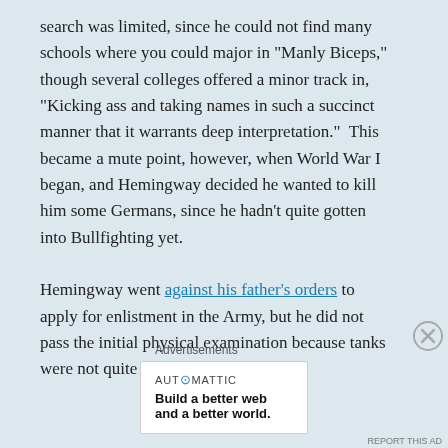search was limited, since he could not find many schools where you could major in "Manly Biceps," though several colleges offered a minor track in, "Kicking ass and taking names in such a succinct manner that it warrants deep interpretation."  This became a mute point, however, when World War I began, and Hemingway decided he wanted to kill him some Germans, since he hadn't quite gotten into Bullfighting yet.

Hemingway went against his father's orders to apply for enlistment in the Army, but he did not pass the initial physical examination because tanks were not quite approved as
Advertisements
[Figure (other): Automattic advertisement: logo text 'AUTOMATTIC' with a circle-dot, tagline 'Build a better web and a better world.']